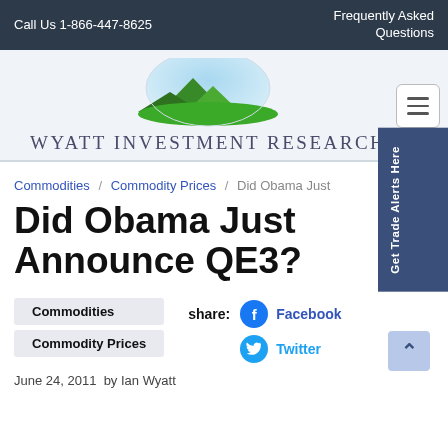Call Us 1-866-447-8625   Frequently Asked Questions
[Figure (logo): Wyatt Investment Research logo with mountain/landscape graphic and wordmark]
Commodities / Commodity Prices / Did Obama Just
Did Obama Just Announce QE3?
Commodities
Commodity Prices
share: Facebook Twitter
June 24, 2011  by Ian Wyatt